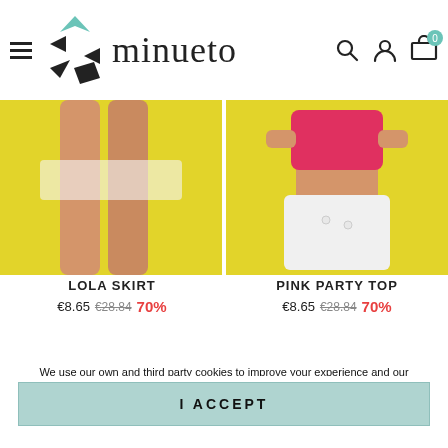[Figure (screenshot): Minueto fashion retail website header with hamburger menu, logo, search, user, and cart icons]
[Figure (photo): Left product photo: legs/skirt on yellow background - LOLA SKIRT]
[Figure (photo): Right product photo: model in pink top and white skirt on yellow background - PINK PARTY TOP]
LOLA SKIRT
€8.65  €28.84  70%
PINK PARTY TOP
€8.65  €28.84  70%
We use our own and third party cookies to improve your experience and our services by analyzing the navigation on our website. By clicking on I ACCEPT, you are giving your consent to the use of all cookies.  More info  customize cookies
I ACCEPT